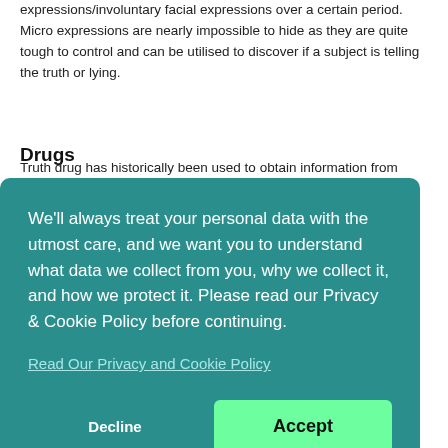expressions/involuntary facial expressions over a certain period. Micro expressions are nearly impossible to hide as they are quite tough to control and can be utilised to discover if a subject is telling the truth or lying.
Drugs
Truth drug has historically been used to obtain information from subjects without consent
We'll always treat your personal data with the utmost care, and we want you to understand what data we collect from you, why we collect it, and how we protect it. Please read our Privacy & Cookie Policy before continuing.
Read Our Privacy and Cookie Policy
Decline
Accept
distraction and disruption. As the consequence, we give the examinee's undergo pre-examination